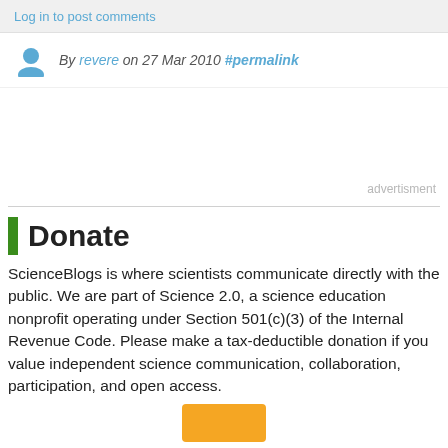Log in to post comments
By revere on 27 Mar 2010 #permalink
advertisment
Donate
ScienceBlogs is where scientists communicate directly with the public. We are part of Science 2.0, a science education nonprofit operating under Section 501(c)(3) of the Internal Revenue Code. Please make a tax-deductible donation if you value independent science communication, collaboration, participation, and open access.